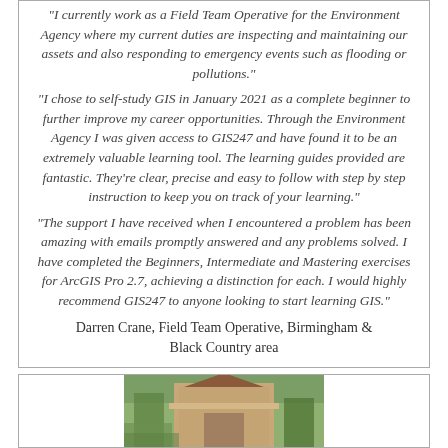“I currently work as a Field Team Operative for the Environment Agency where my current duties are inspecting and maintaining our assets and also responding to emergency events such as flooding or pollutions.”
“I chose to self-study GIS in January 2021 as a complete beginner to further improve my career opportunities. Through the Environment Agency I was given access to GIS247 and have found it to be an extremely valuable learning tool. The learning guides provided are fantastic. They’re clear, precise and easy to follow with step by step instruction to keep you on track of your learning.”
“The support I have received when I encountered a problem has been amazing with emails promptly answered and any problems solved. I have completed the Beginners, Intermediate and Mastering exercises for ArcGIS Pro 2.7, achieving a distinction for each. I would highly recommend GIS247 to anyone looking to start learning GIS.”
Darren Crane, Field Team Operative, Birmingham & Black Country area
[Figure (photo): Photo of a building with trees and greenery in the background, partially visible at the bottom of the page]